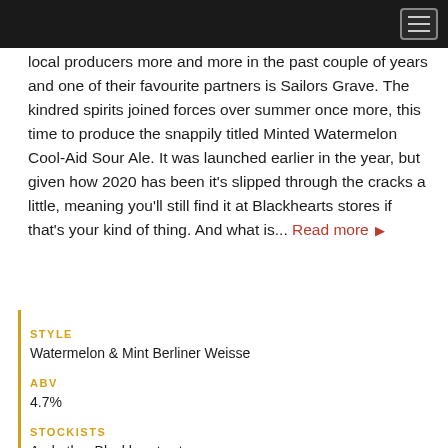local producers more and more in the past couple of years and one of their favourite partners is Sailors Grave. The kindred spirits joined forces over summer once more, this time to produce the snappily titled Minted Watermelon Cool-Aid Sour Ale. It was launched earlier in the year, but given how 2020 has been it's slipped through the cracks a little, meaning you'll still find it at Blackhearts stores if that's your kind of thing. And what is... Read more ▶
STYLE
Watermelon & Mint Berliner Weisse
ABV
4.7%
STOCKISTS
And other Blackhearts stores